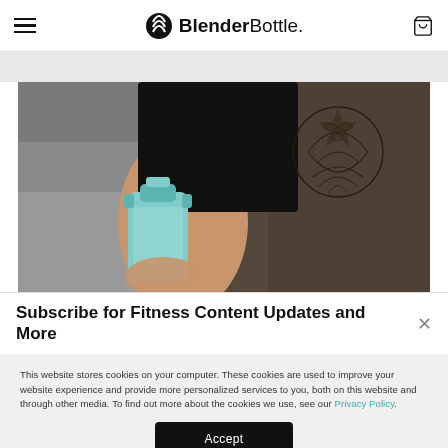BlenderBottle.
[Figure (photo): Person in black tank top holding a teal BlenderBottle shaker, showing tattooed arm in a gym setting.]
Subscribe for Fitness Content Updates and More
This website stores cookies on your computer. These cookies are used to improve your website experience and provide more personalized services to you, both on this website and through other media. To find out more about the cookies we use, see our Privacy Policy.
Accept